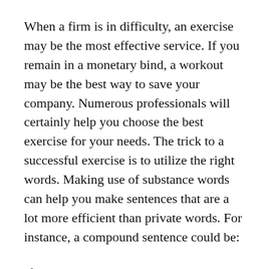When a firm is in difficulty, an exercise may be the most effective service. If you remain in a monetary bind, a workout may be the best way to save your company. Numerous professionals will certainly help you choose the best exercise for your needs. The trick to a successful exercise is to utilize the right words. Making use of substance words can help you make sentences that are a lot more efficient than private words. For instance, a compound sentence could be:
If you’re in a monetary bind, an exercise may be the best choice. If you’re unsure which word to utilize, attempt an individual-word or compound-word exercise. There are numerous sorts of exercises, and they’re all effective and also useful. If you’re a writer, you can take advantage of both options. It’s an excellent way to save your firm. There are